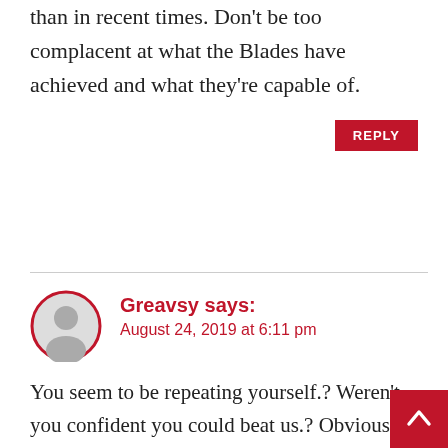than in recent times. Don't be too complacent at what the Blades have achieved and what they're capable of.
REPLY
Greavsy says:
August 24, 2019 at 6:11 pm
You seem to be repeating yourself.? Weren't you confident you could beat us.? Obviously you did but I won't lose sleep over it. A lot better teams than